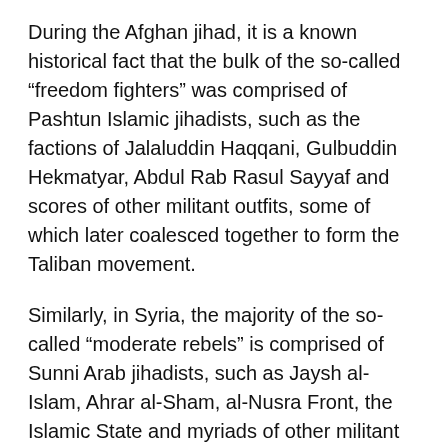During the Afghan jihad, it is a known historical fact that the bulk of the so-called “freedom fighters” was comprised of Pashtun Islamic jihadists, such as the factions of Jalaluddin Haqqani, Gulbuddin Hekmatyar, Abdul Rab Rasul Sayyaf and scores of other militant outfits, some of which later coalesced together to form the Taliban movement.
Similarly, in Syria, the majority of the so-called “moderate rebels” is comprised of Sunni Arab jihadists, such as Jaysh al-Islam, Ahrar al-Sham, al-Nusra Front, the Islamic State and myriads of other militant groups, including a small portion of defected Syrian soldiers who go by the name of Free Syria Army (FSA).
Moreover, apart from Pashtun Islamic jihadists,